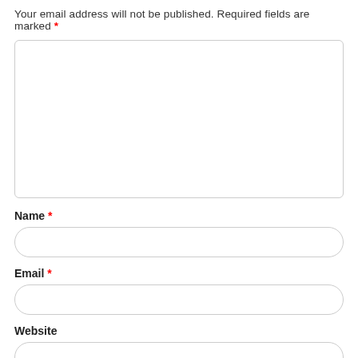Your email address will not be published. Required fields are marked *
[Figure (other): Large comment text area input box with rounded corners]
Name *
[Figure (other): Name input field with rounded corners]
Email *
[Figure (other): Email input field with rounded corners]
Website
[Figure (other): Website input field with rounded corners]